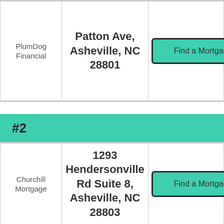| Company | Address | Action |
| --- | --- | --- |
| PlumDog Financial | Patton Ave, Asheville, NC 28801 | Find a Mortgage |
#2
| Company | Address | Action |
| --- | --- | --- |
| Churchill Mortgage | 1293 Hendersonville Rd Suite 8, Asheville, NC 28803 | Find a Mortgage |